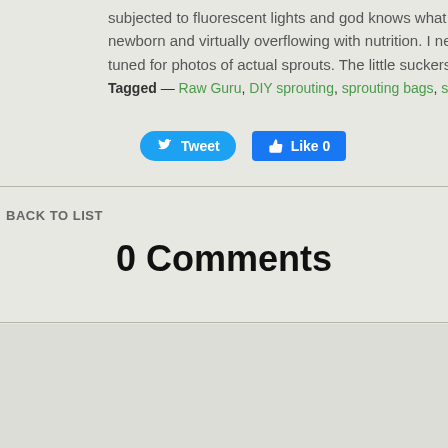subjected to fluorescent lights and god knows what en newborn and virtually overflowing with nutrition. I ne tuned for photos of actual sprouts. The little suckers sh
Tagged — Raw Guru, DIY sprouting, sprouting bags, sprouts, hem
[Figure (screenshot): Tweet and Like social media buttons]
BACK TO LIST
0 Comments